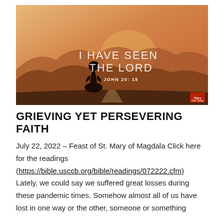[Figure (illustration): Inspirational image showing a silhouette of a woman sitting cross-legged on a hilltop at sunset with mountains in the background. Text overlay reads 'I HAVE SEEN THE LORD' with 'JOHN 20: 18' below it. A small logo appears in the bottom right corner.]
GRIEVING YET PERSEVERING FAITH
July 22, 2022 – Feast of St. Mary of Magdala Click here for the readings (https://bible.usccb.org/bible/readings/072222.cfm) Lately, we could say we suffered great losses during these pandemic times. Somehow almost all of us have lost in one way or the other, someone or something